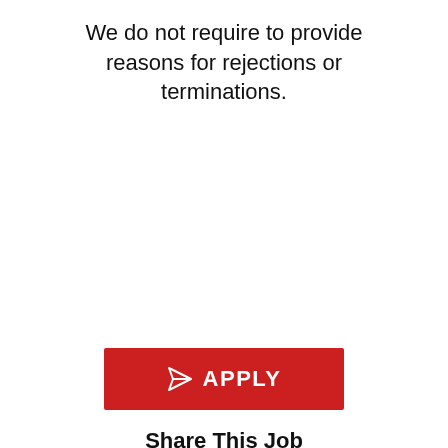We do not require to provide reasons for rejections or terminations.
[Figure (other): Red APPLY button with paper airplane icon]
Share This Job